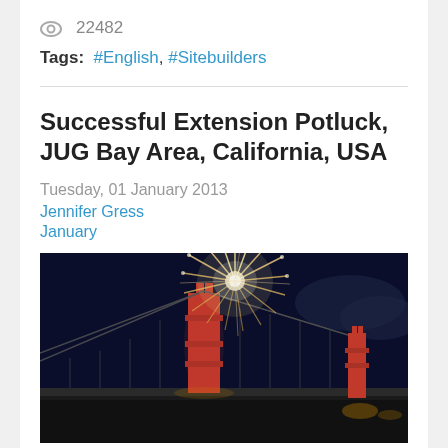22482
Tags:  #English, #Sitebuilders
Successful Extension Potluck, JUG Bay Area, California, USA
Tuesday, 01 January 2013
Jennifer Gress
January
[Figure (photo): Night photo of the Golden Gate Bridge with large fireworks explosion behind the main tower, dark blue sky and illuminated bridge structure]